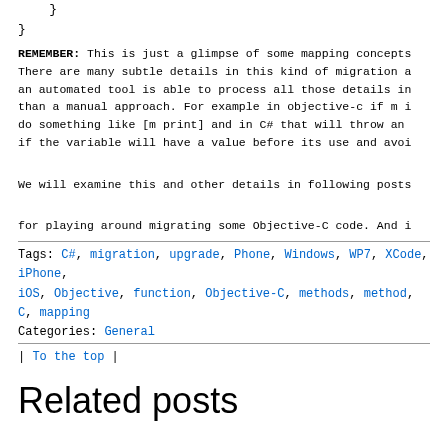}
}
REMEMBER: This is just a glimpse of some mapping concepts. There are many subtle details in this kind of migration and an automated tool is able to process all those details in than a manual approach. For example in objective-c if m is do something like [m print] and in C# that will throw an if the variable will have a value before its use and avoid
We will examine this and other details in following posts
for playing around migrating some Objective-C code. And i
Tags: C#, migration, upgrade, Phone, Windows, WP7, XCode, iPhone, iOS, Objective, function, Objective-C, methods, method, C, mapping
Categories: General
| To the top |
Related posts